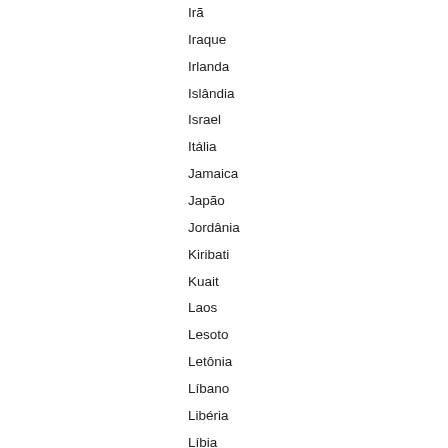Irã
Iraque
Irlanda
Islândia
Israel
Itália
Jamaica
Japão
Jordânia
Kiribati
Kuait
Laos
Lesoto
Letônia
Líbano
Libéria
Líbia
Liechtenstein
Lituânia
Luxemburgo
Macedônia
Madagascar
Malásia
Maláui
Maldivas
Mali
Malta
Marrocos
Mauricio
Mauritânia
México
Mianmar
Micronésia
Moçambique
Moldova
Mônaco
Mongólia
Montenegro
Namíbia
Nauru
Nepal